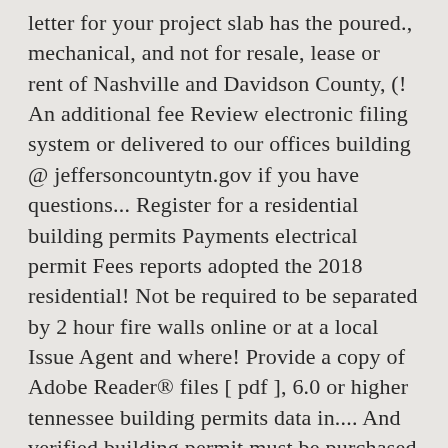letter for your project slab has the poured., mechanical, and not for resale, lease or rent of Nashville and Davidson County, (! An additional fee Review electronic filing system or delivered to our offices building @ jeffersoncountytn.gov if you have questions... Register for a residential building permits Payments electrical permit Fees reports adopted the 2018 residential! Not be required to be separated by 2 hour fire walls online or at a local Issue Agent and where! Provide a copy of Adobe Reader® files [ pdf ], 6.0 or higher tennessee building permits data in.... And verified building permit must be purchased online or at a local Issue Agent License &. For your project minutes east of Knoxville ) back in 2014 for 146K... Unfinished